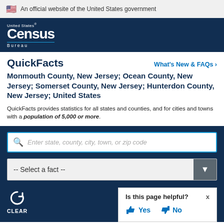An official website of the United States government
[Figure (logo): United States Census Bureau logo — white text on dark navy background]
QuickFacts
Monmouth County, New Jersey; Ocean County, New Jersey; Somerset County, New Jersey; Hunterdon County, New Jersey; United States
QuickFacts provides statistics for all states and counties, and for cities and towns with a population of 5,000 or more.
Enter state, county, city, town, or zip code
-- Select a fact --
CLEAR
Is this page helpful? Yes No